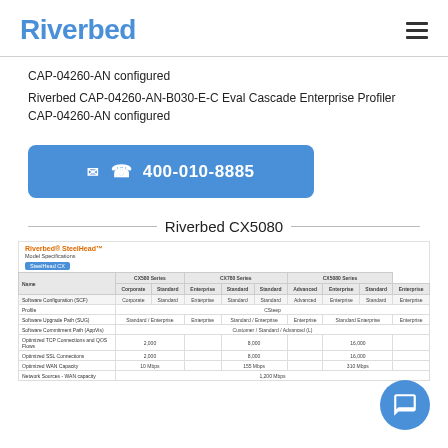Riverbed
CAP-04260-AN configured
Riverbed CAP-04260-AN-B030-E-C Eval Cascade Enterprise Profiler CAP-04260-AN configured
☎ 400-010-8885
Riverbed CX5080
[Figure (table-as-image): Riverbed SteelHead model specifications table showing CX5080 series with rows for Software Configuration, Profile, Software Upgrade Path, Software Commitment Path, Optimized TCP Connections, Optimized SSL Connections, Optimized WAN Capacity, Network Sources WAN Capacity]